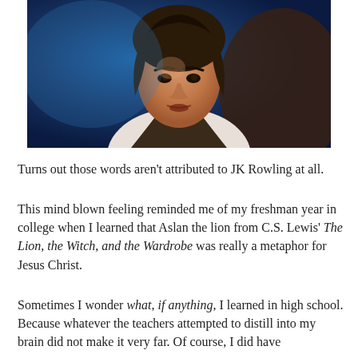[Figure (photo): A young man with shoulder-length dark hair, looking surprised or confused, wearing a dark vest over a white shirt, with a blue background.]
Turns out those words aren't attributed to JK Rowling at all.
This mind blown feeling reminded me of my freshman year in college when I learned that Aslan the lion from C.S. Lewis' The Lion, the Witch, and the Wardrobe was really a metaphor for Jesus Christ.
Sometimes I wonder what, if anything, I learned in high school. Because whatever the teachers attempted to distill into my brain did not make it very far. Of course, I did have